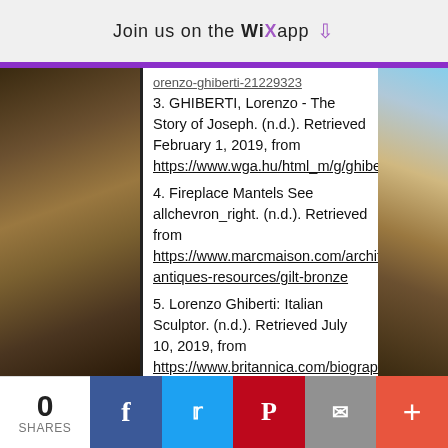Join us on the WiX app
3. GHIBERTI, Lorenzo - The Story of Joseph. (n.d.). Retrieved February 1, 2019, from https://www.wga.hu/html_m/g/ghiberti/paradiso/2joseph.html
4. Fireplace Mantels See allchevron_right. (n.d.). Retrieved from https://www.marcmaison.com/architectural-antiques-resources/gilt-bronze
5. Lorenzo Ghiberti: Italian Sculptor. (n.d.). Retrieved July 10, 2019, from https://www.britannica.com/biography/Lorenzo-Ghiberti
Researched and Written By Deeni and Cody Mitchell